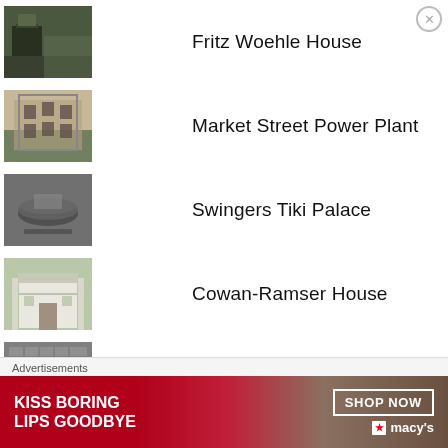Fritz Woehle House
Market Street Power Plant
Swingers Tiki Palace
Cowan-Ramser House
Charity Hospital
Money Pit
Roebuck Castle
Advertisements
[Figure (photo): Macy's advertisement banner: 'KISS BORING LIPS GOODBYE' with SHOP NOW button and Macy's logo]